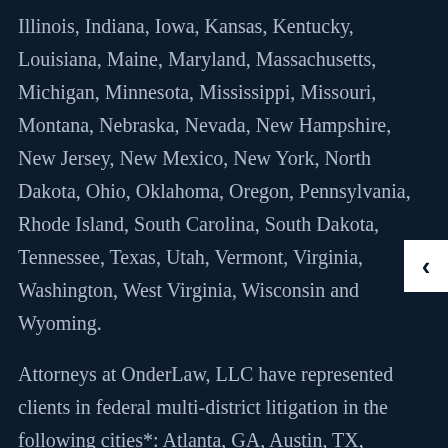Illinois, Indiana, Iowa, Kansas, Kentucky, Louisiana, Maine, Maryland, Massachusetts, Michigan, Minnesota, Mississippi, Missouri, Montana, Nebraska, Nevada, New Hampshire, New Jersey, New Mexico, New York, North Dakota, Ohio, Oklahoma, Oregon, Pennsylvania, Rhode Island, South Carolina, South Dakota, Tennessee, Texas, Utah, Vermont, Virginia, Washington, West Virginia, Wisconsin and Wyoming.
Attorneys at OnderLaw, LLC have represented clients in federal multi-district litigation in the following cities*: Atlanta, GA, Austin, TX, Baltimore, MD, Birmingham, AL, Boston, MA, Buffalo, NY, Chicago, IL, Cincinnati, OH, Cleveland, OH, Columbus, OH, Dallas, TX, Denver, CO, Detroit, MI, Fresno, CA, Hartford, CT, Honolulu, HI, Houston, TX, Indianapolis, IN, Jacksonville, FL, Kansas City, MO, Las Vegas, NV, Los Angeles, CA, Louisville, KY, Memphis, TN, Miami, FL, Milwaukee, WI, Minneapolis, MN, Nashville, TN,